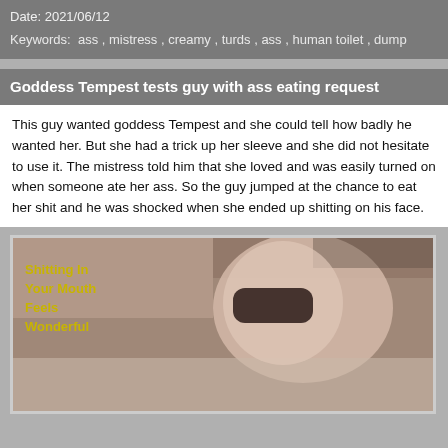Date: 2021/06/12
Keywords: ass , mistress , creamy , turds , ass , human toilet , dump
Goddess Tempest tests guy with ass eating request
This guy wanted goddess Tempest and she could tell how badly he wanted her. But she had a trick up her sleeve and she did not hesitate to use it. The mistress told him that she loved and was easily turned on when someone ate her ass. So the guy jumped at the chance to eat her shit and he was shocked when she ended up shitting on his face.
[Figure (photo): Video still showing a masked person lying down, with overlaid yellow text reading 'Shitting In Your Mouth Feels Wonderful']